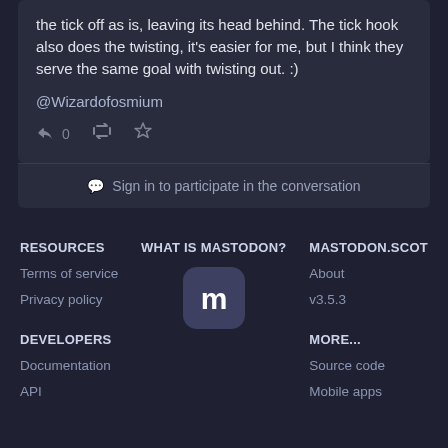the tick off as is, leaving its head behind. The tick hook also does the twisting, it's easier for me, but I think they serve the same goal with twisting out. :)
@Wizardofosmium
↩↩ 0  🔁  ☆
Sign in to participate in the conversation
RESOURCES
Terms of service
Privacy policy
DEVELOPERS
Documentation
API
WHAT IS MASTODON?
[Figure (logo): Mastodon logo, white m on rounded dark square]
MASTODON.SCOT
About
v3.5.3
MORE...
Source code
Mobile apps